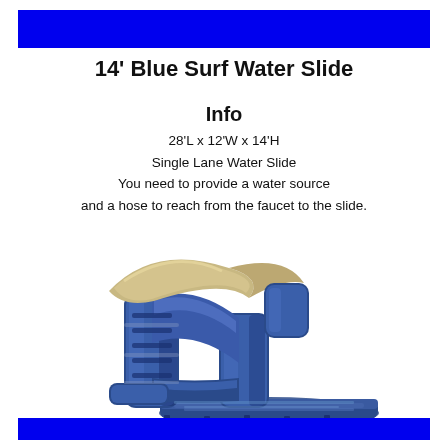14' Blue Surf Water Slide
Info
28'L x 12'W x 14'H
Single Lane Water Slide
You need to provide a water source
and a hose to reach from the faucet to the slide.
[Figure (photo): Blue inflatable water slide with single lane, wave-top design, climbing wall on the side, and splash pool at the bottom. The slide is predominantly dark blue with silver/grey accents and a beige/tan curved top piece.]